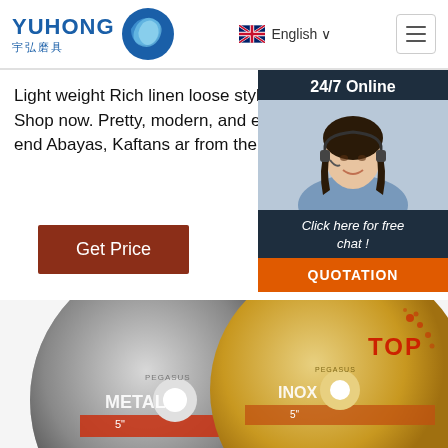[Figure (logo): Yuhong logo with blue wave icon and Chinese text 宇弘磨具]
English
Light weight Rich linen loose style. Shop now. collection. Shop now. Cleo Collection. Shop Collection. Shop now. Pretty, modern, and el M A N T R A. Dress with confidence. Put the your closet with high-end Abayas, Kaftans ar from the biggest names in traditional fashion
[Figure (photo): 24/7 Online chat widget with woman wearing headset]
Get Price
Click here for free chat !
QUOTATION
[Figure (photo): Two grinding/cutting discs - one labeled METAL 5 inch and one labeled INOX 5 inch, with TOP branding]